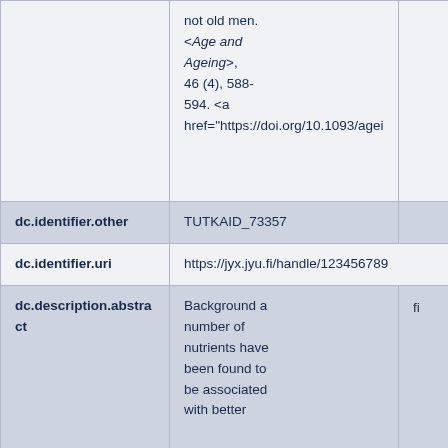| Field | Value | Language |
| --- | --- | --- |
|  | not old men. <em>Age and Ageing</em>, 46 (4), 588-594. <a href="https://doi.org/10.1093/agei... |  |
| dc.identifier.other | TUTKAID_73357 |  |
| dc.identifier.uri | https://jyx.jyu.fi/handle/123456789... |  |
| dc.description.abstract | Background a number of nutrients have been found to be associated with better ... | fi |